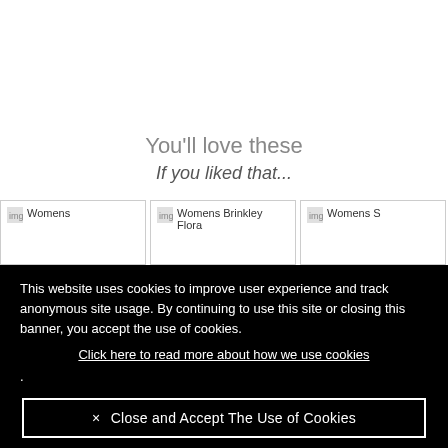You'll love these
If you liked that...
[Figure (screenshot): Three partially visible product thumbnail cards showing women's fashion items (Womens, Womens Brinkley Flora, Womens S...) with broken image icons]
This website uses cookies to improve user experience and track anonymous site usage. By continuing to use this site or closing this banner, you accept the use of cookies.
Click here to read more about how we use cookies
.
✕ Close and Accept The Use of Cookies